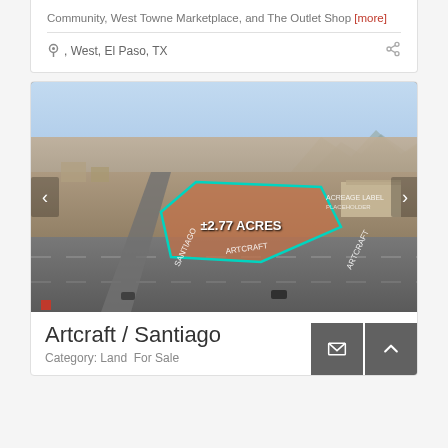Community, West Towne Marketplace, and The Outlet Shop [more]
, West, El Paso, TX
[Figure (photo): Aerial drone photograph of a parcel of land labeled ±2.77 ACRES outlined in teal/cyan, located at the intersection of Artcraft and Santiago roads in El Paso, TX. Urban sprawl and mountains visible in background.]
Artcraft / Santiago
Category: Land  For Sale